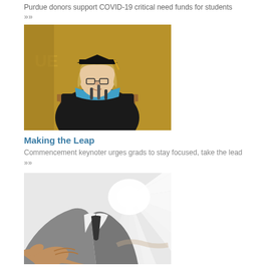Purdue donors support COVID-19 critical need funds for students
»»
[Figure (photo): Woman in graduation cap and gown speaking at a podium with microphones, yellow/gold backdrop with 'UE' visible]
Making the Leap
Commencement keynoter urges grads to stay focused, take the lead »»
[Figure (photo): Man in grey suit extending hand for handshake, with bright light rays in background]